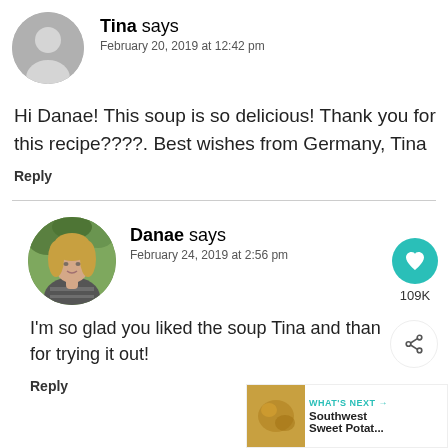[Figure (photo): Gray circle avatar placeholder for user Tina]
Tina says
February 20, 2019 at 12:42 pm
Hi Danae! This soup is so delicious! Thank you for this recipe????. Best wishes from Germany, Tina
Reply
[Figure (photo): Circular photo of Danae, a blonde woman outdoors in a striped shirt]
Danae says
February 24, 2019 at 2:56 pm
I'm so glad you liked the soup Tina and than for trying it out!
Reply
[Figure (infographic): Heart icon button with teal background showing 109K likes]
[Figure (infographic): Share icon button]
[Figure (infographic): What's Next widget showing Southwest Sweet Potat... thumbnail]